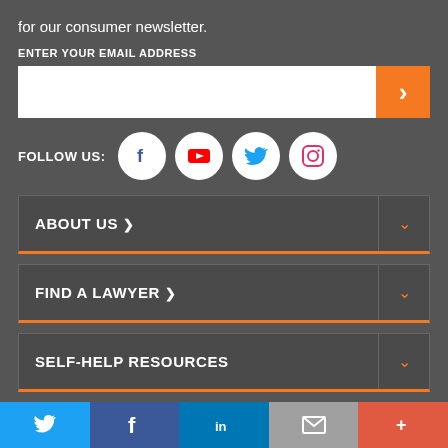for our consumer newsletter.
ENTER YOUR EMAIL ADDRESS
[Figure (other): Email input field with orange submit arrow button]
FOLLOW US:
[Figure (other): Social media icons: Facebook, YouTube, Twitter, Instagram]
ABOUT US >
FIND A LAWYER >
SELF-HELP RESOURCES
Twitter | Facebook | LinkedIn | Email | More